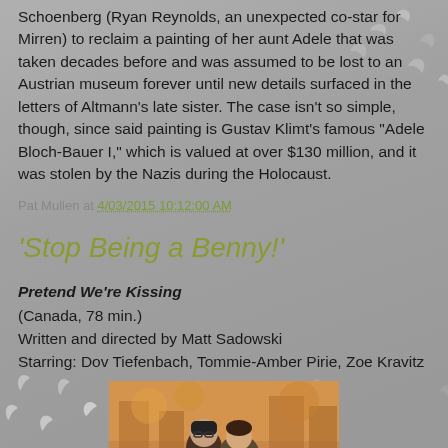Schoenberg (Ryan Reynolds, an unexpected co-star for Mirren) to reclaim a painting of her aunt Adele that was taken decades before and was assumed to be lost to an Austrian museum forever until new details surfaced in the letters of Altmann's late sister. The case isn't so simple, though, since said painting is Gustav Klimt's famous “Adele Bloch-Bauer I,” which is valued at over $130 million, and it was stolen by the Nazis during the Holocaust.
Pat Mullen at 4/03/2015 10:12:00 AM
'Stop Being a Benny!'
Pretend We’re Kissing
(Canada, 78 min.)
Written and directed by Matt Sadowski
Starring: Dov Tiefenbach, Tommie-Amber Pirie, Zoe Kravitz
[Figure (photo): Photo of two people outdoors with autumn background, one wearing a black beanie hat and glasses]